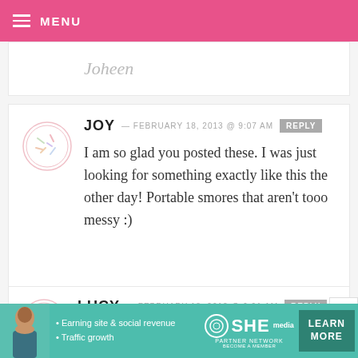MENU
Joheen
JOY — FEBRUARY 18, 2013 @ 9:07 AM REPLY
I am so glad you posted these. I was just looking for something exactly like this the other day! Portable smores that aren't tooo messy :)
LUCY — FEBRUARY 18, 2013 @ 9:01 AM REPLY
[Figure (infographic): SHE Partner Network advertisement banner with woman photo, bullet points about earning site & social revenue and traffic growth, SHE logo, and LEARN MORE button]